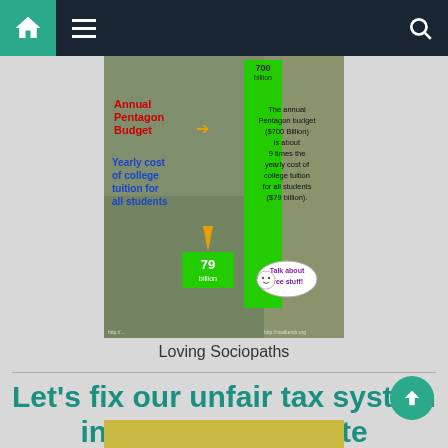Navigation bar with home, menu, and search icons
[Figure (infographic): Infographic comparing the Annual Pentagon Budget ($700 Billion) to the Yearly cost of college tuition for all students ($79 billion). A tall green bar represents $700 billion (Pentagon), and a small green box at the bottom represents $79 billion (college tuition). Text: 'The annual Pentagon budget ($700 Billion) is about 9 times the yearly cost of college tuition for all students ($79 billion). Talk about free stuff!']
Loving Sociopaths
Let's fix our unfair tax system in Washington State